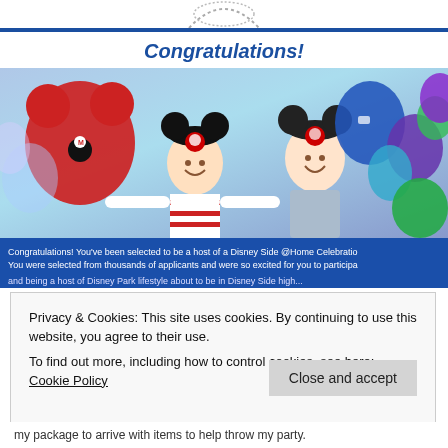[Figure (other): Partial logo / dotted arc visible at very top of page]
Congratulations!
[Figure (photo): Photo of two people wearing Mickey Mouse ears hats, surrounded by colorful balloons (red, blue, green, purple, teal). A blue banner overlays the bottom of the photo with text: 'Congratulations! You've been selected to be a host of a Disney Side @Home Celebration. You were selected from thousands of applicants and were so excited for you to participa...']
Privacy & Cookies: This site uses cookies. By continuing to use this website, you agree to their use.
To find out more, including how to control cookies, see here: Cookie Policy
Close and accept
my package to arrive with items to help throw my party.